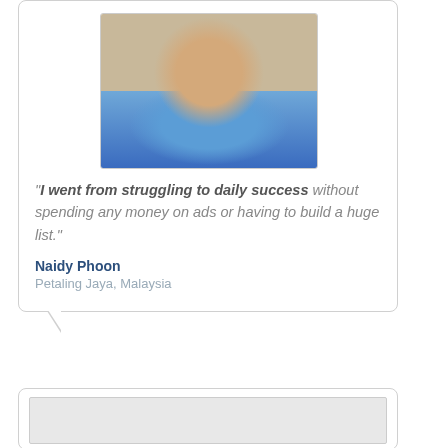[Figure (photo): Headshot photo of a young Asian man smiling, wearing a blue patterned top, taken from a video screenshot]
"I went from struggling to daily success without spending any money on ads or having to build a huge list."
Naidy Phoon
Petaling Jaya, Malaysia
[Figure (screenshot): Partial view of another testimonial card at the bottom of the page, showing a white rectangle placeholder image]